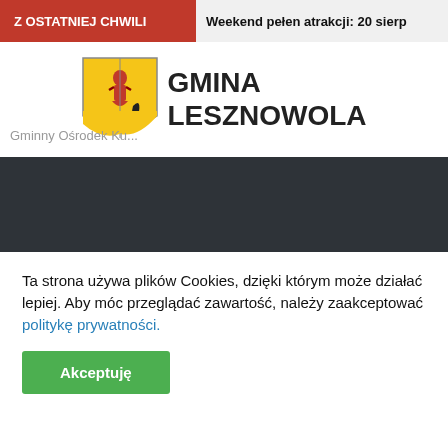Z OSTATNIEJ CHWILI
Weekend pełen atrakcji: 20 sierp
[Figure (logo): Gmina Lesznowola coat of arms logo with yellow shield containing a woman figure and black lion, next to text GMINA LESZNOWOLA]
Gminny Ośrodek Ku...
ŚLEDŹ NAS
Facebook
Instagram
Multimedia
Ta strona używa plików Cookies, dzięki którym może działać lepiej. Aby móc przeglądać zawartość, należy zaakceptować politykę prywatności.
Akceptuję